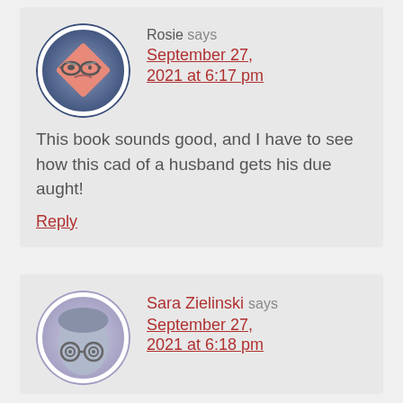[Figure (illustration): Cartoon avatar of a grumpy pink diamond-shaped face with glasses, on a blue-grey circular background]
Rosie says
September 27, 2021 at 6:17 pm
This book sounds good, and I have to see how this cad of a husband gets his due aught!
Reply
[Figure (illustration): Cartoon avatar of a grey figure with glasses, on a light purple circular background]
Sara Zielinski says
September 27, 2021 at 6:18 pm